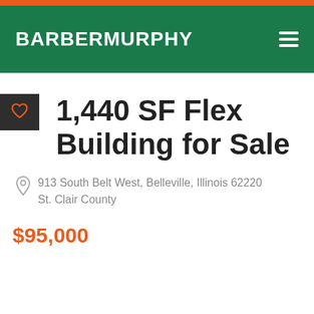BARBERMURPHY
1,440 SF Flex Building for Sale
913 South Belt West, Belleville, Illinois 62220
St. Clair County
$95,000